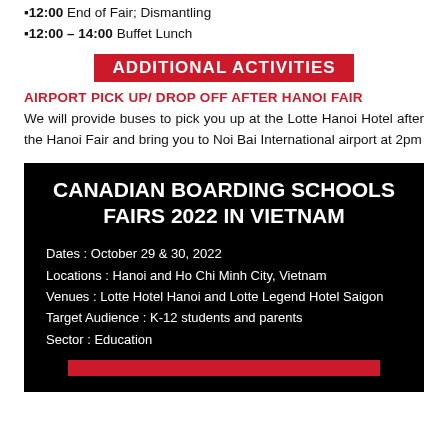▪12:00 End of Fair; Dismantling
▪12:00 – 14:00 Buffet Lunch
ADDITIONAL ACTIVITIES
AIRPORT PICK UP/ DROP OFF AFTER HANOI FAIR
We will provide buses to pick you up at the Lotte Hanoi Hotel after the Hanoi Fair and bring you to Noi Bai International airport at 2pm
CANADIAN BOARDING SCHOOLS FAIRS 2022 IN VIETNAM
Dates : October 29 & 30, 2022
Locations : Hanoi and Ho Chi Minh City, Vietnam
Venues : Lotte Hotel Hanoi and Lotte Legend Hotel Saigon
Target Audience : K-12 students and parents
Sector : Education